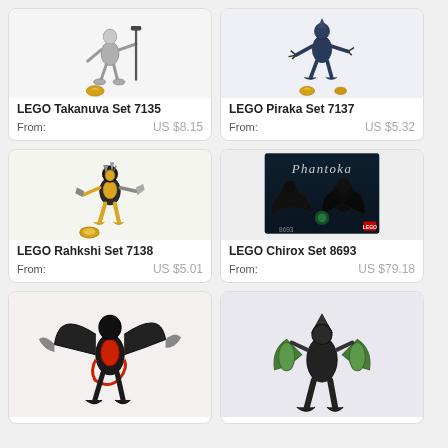[Figure (photo): LEGO Takanuva Set 7135 product image showing silver/grey LEGO Bionicle figure with black staff and gold mask pieces]
LEGO Takanuva Set 7135
From:  US $8.15
[Figure (photo): LEGO Piraka Set 7137 product image showing dark blue/navy LEGO Bionicle figure with claws and gold mask pieces]
LEGO Piraka Set 7137
From:  US $5.32
[Figure (photo): LEGO Rahkshi Set 7138 product image showing yellow and black LEGO Bionicle figure with spikes and gold disc]
LEGO Rahkshi Set 7138
From:  US $5.01
[Figure (photo): LEGO Chirox Set 8693 product image showing box art with Phantoka text, black winged creature figures]
LEGO Chirox Set 8693
From:  US $79.18
[Figure (photo): LEGO Bionicle figure with black wings, red and black body, silver claws - partial view at bottom]
[Figure (photo): LEGO Bionicle dark figure with green shields/blades and black armor - partial view at bottom]